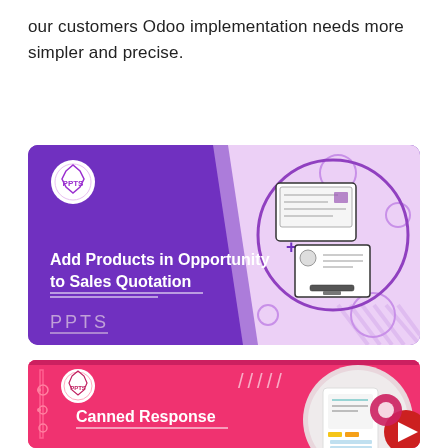our customers Odoo implementation needs more simpler and precise.
[Figure (illustration): Purple and pink banner for 'Add Products in Opportunity to Sales Quotation' Odoo module by PPTS, with PPTS logo, decorative circles, and product/quotation icon illustration.]
[Figure (illustration): Pink/red banner for 'Canned Response' Odoo module by PPTS, with PPTS logo, decorative lines, tablet/form illustration, and YouTube/chat icons.]